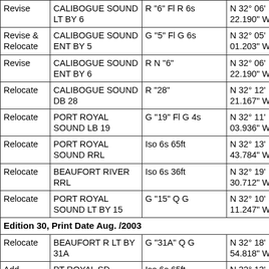| Action | Name | Characteristic | Latitude |
| --- | --- | --- | --- |
| Revise | CALIBOGUE SOUND LT BY 6 | R "6" Fl R 6s | N 32° 06' 22.190" |
| Revise & Relocate | CALIBOGUE SOUND ENT BY 5 | G "5" Fl G 6s | N 32° 05' 01.203" |
| Revise | CALIBOGUE SOUND ENT BY 6 | R N "6" | N 32° 06' 22.190" |
| Relocate | CALIBOGUE SOUND DB 28 | R "28" | N 32° 12' 21.167" |
| Relocate | PORT ROYAL SOUND LB 19 | G "19" Fl G 4s | N 32° 11' 03.936" |
| Relocate | PORT ROYAL SOUND RRL | Iso 6s 65ft | N 32° 13' 43.784" |
| Relocate | BEAUFORT RIVER RRL | Iso 6s 36ft | N 32° 19' 30.712" |
| Relocate | PORT ROYAL SOUND LT BY 15 | G "15" Q G | N 32° 10' 11.247" |
| Edition 30, Print Date Aug. /2003 |  |  |  |
| Relocate | BEAUFORT R LT BY 31A | G "31A" Q G | N 32° 18' 54.818" |
| Add | PT ROYAL SD | Iso 6s 65ft | N 32° 13' 43.784" |